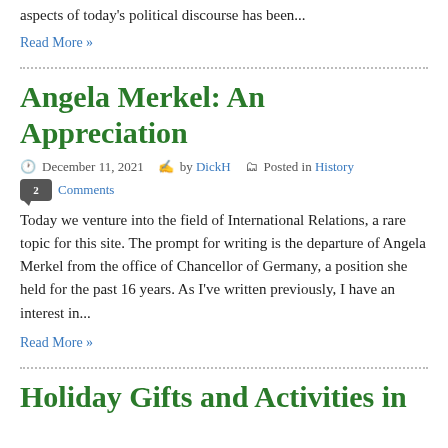aspects of today's political discourse has been...
Read More »
Angela Merkel: An Appreciation
December 11, 2021  by DickH  Posted in History  2 Comments
Today we venture into the field of International Relations, a rare topic for this site. The prompt for writing is the departure of Angela Merkel from the office of Chancellor of Germany, a position she held for the past 16 years. As I've written previously, I have an interest in...
Read More »
Holiday Gifts and Activities in